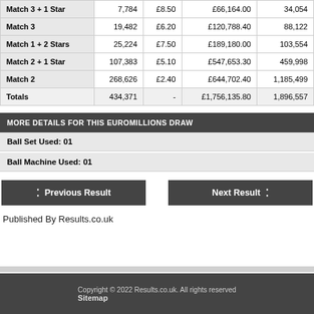|  |  |  |  |  |
| --- | --- | --- | --- | --- |
| Match 3 + 1 Star | 7,784 | £8.50 | £66,164.00 | 34,054 |
| Match 3 | 19,482 | £6.20 | £120,788.40 | 88,122 |
| Match 1 + 2 Stars | 25,224 | £7.50 | £189,180.00 | 103,554 |
| Match 2 + 1 Star | 107,383 | £5.10 | £547,653.30 | 459,998 |
| Match 2 | 268,626 | £2.40 | £644,702.40 | 1,185,499 |
| Totals | 434,371 | - | £1,756,135.80 | 1,896,557 |
MORE DETAILS FOR THIS EUROMILLIONS DRAW
Ball Set Used: 01
Ball Machine Used: 01
Previous Result
Next Result
Published By Results.co.uk
Copyright © 2022 Results.co.uk. All rights reserved. Sitemap